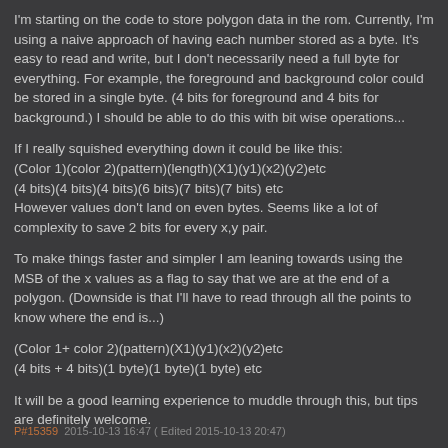I'm starting on the code to store polygon data in the rom. Currently, I'm using a naive approach of having each number stored as a byte. It's easy to read and write, but I don't necessarily need a full byte for everything. For example, the foreground and background color could be stored in a single byte. (4 bits for foreground and 4 bits for background.) I should be able to do this with bit wise operations...
If I really squished everything down it could be like this:
(Color 1)(color 2)(pattern)(length)(X1)(y1)(x2)(y2)etc
(4 bits)(4 bits)(4 bits)(6 bits)(7 bits)(7 bits) etc
However values don't land on even bytes. Seems like a lot of complexity to save 2 bits for every x,y pair.
To make things faster and simpler I am leaning towards using the MSB of the x values as a flag to say that we are at the end of a polygon. (Downside is that I'll have to read through all the points to know where the end is...)
(Color 1+ color 2)(pattern)(X1)(y1)(x2)(y2)etc
(4 bits + 4 bits)(1 byte)(1 byte)(1 byte) etc
It will be a good learning experience to muddle through this, but tips are definitely welcome.
P#15359  2015-10-13 16:47 ( Edited 2015-10-13 20:47)